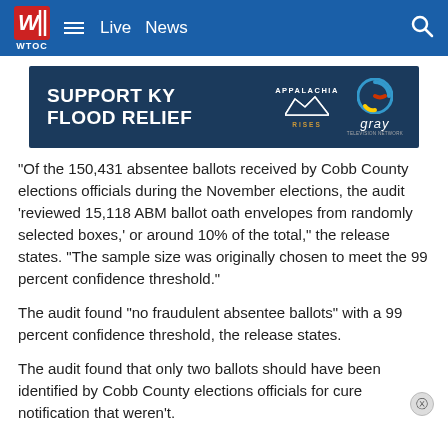WTOC — Live  News
[Figure (other): Advertisement banner: SUPPORT KY FLOOD RELIEF — Appalachia Rises — gray television network logo]
“Of the 150,431 absentee ballots received by Cobb County elections officials during the November elections, the audit ‘reviewed 15,118 ABM ballot oath envelopes from randomly selected boxes,’ or around 10% of the total,” the release states. “The sample size was originally chosen to meet the 99 percent confidence threshold.”
The audit found “no fraudulent absentee ballots” with a 99 percent confidence threshold, the release states.
The audit found that only two ballots should have been identified by Cobb County elections officials for cure notification that weren’t.